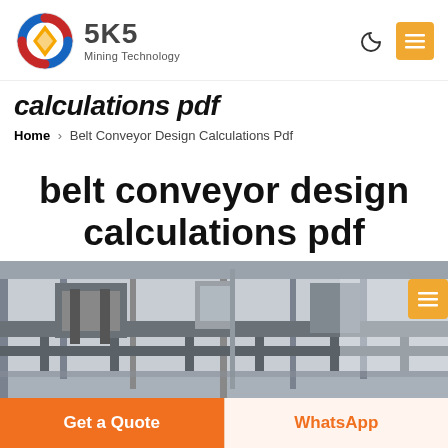SKS Mining Technology
calculations pdf
Home › Belt Conveyor Design Calculations Pdf
belt conveyor design calculations pdf
[Figure (photo): Industrial belt conveyor equipment inside a factory/warehouse, showing metal framework, conveyor structures, and industrial machinery in black and white tones.]
Get a Quote
WhatsApp